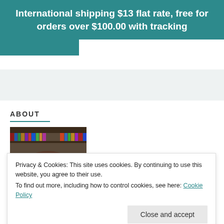International shipping $13 flat rate, free for orders over $100.00 with tracking
[Figure (other): Teal/green button stub partially visible]
ABOUT
[Figure (photo): Portrait photo of a person with glasses in front of bookshelves]
Privacy & Cookies: This site uses cookies. By continuing to use this website, you agree to their use. To find out more, including how to control cookies, see here: Cookie Policy
Close and accept
will find tutorials, free patterns, stitch instructions, and tips and